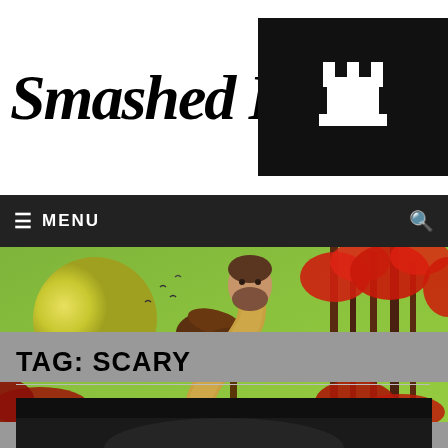Smashed Rook
[Figure (logo): Black box with white chess rook castle icon on the right side of the header]
☰  MENU
[Figure (photo): Surreal landscape with green sky, large moon/planet, red flowering trees, a curved dinosaur-like neck with a human man's face/head on top, tropical scene composite photo]
TAG: SCARY
[Figure (photo): Dark image strip at the bottom, partially visible]